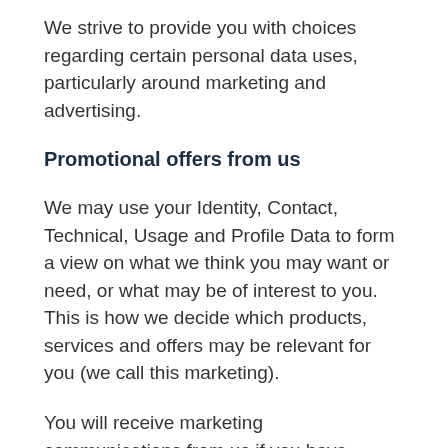We strive to provide you with choices regarding certain personal data uses, particularly around marketing and advertising.
Promotional offers from us
We may use your Identity, Contact, Technical, Usage and Profile Data to form a view on what we think you may want or need, or what may be of interest to you. This is how we decide which products, services and offers may be relevant for you (we call this marketing).
You will receive marketing communications from us if you have requested information from us or purchased services from us and, in each case, you have not opted out of receiving